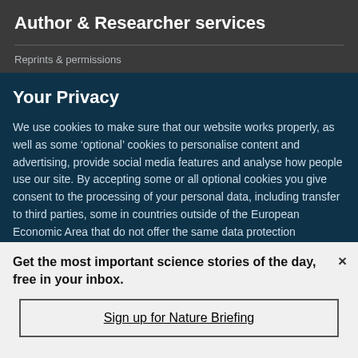Author & Researcher services
Reprints & permissions
Your Privacy
We use cookies to make sure that our website works properly, as well as some ‘optional’ cookies to personalise content and advertising, provide social media features and analyse how people use our site. By accepting some or all optional cookies you give consent to the processing of your personal data, including transfer to third parties, some in countries outside of the European Economic Area that do not offer the same data protection standards as the country where you live. You can decide which optional cookies to accept by clicking on ‘Manage Settings’, where you can
Get the most important science stories of the day, free in your inbox.
Sign up for Nature Briefing